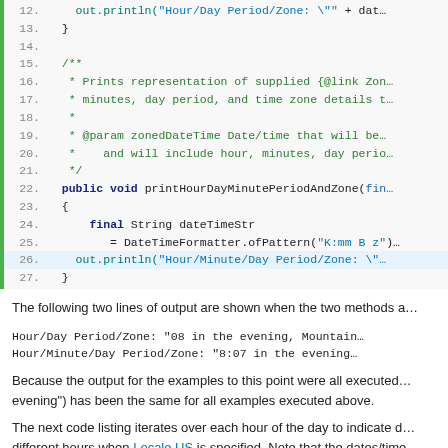[Figure (screenshot): Java code block showing lines 12-27 with syntax highlighting. Line 12: out.println("Hour/Day Period/Zone: \"" + dat..., Line 13: }, Line 14: empty, Lines 15-21: Javadoc comment for printHourDayMinutePeriodAndZone, Line 22: public void printHourDayMinutePeriodAndZone(fin..., Line 23: {, Line 24: final String dateTimeStr, Line 25: = DateTimeFormatter.ofPattern("K:mm B z"), Line 26 (highlighted): out.println("Hour/Minute/Day Period/Zone: ", Line 27: }]
The following two lines of output are shown when the two methods a...
Hour/Day Period/Zone: "08 in the evening, Mountain...
Hour/Minute/Day Period/Zone: "8:07 in the evening...
Because the output for the examples to this point were all executed... evening") has been the same for all examples executed above.
The next code listing iterates over each hour of the day to indicate d... different hours when Locale.US is specified. Note that the dates/time... zero fractional hours (non-zero minutes, seconds, and nanoseconds...